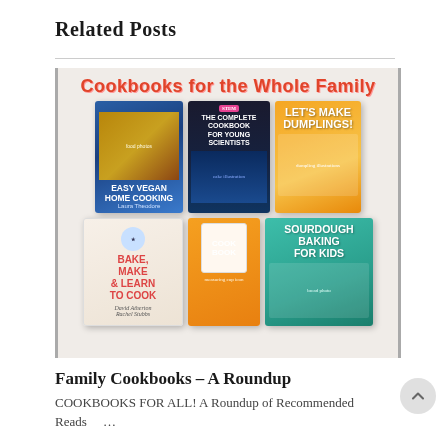Related Posts
[Figure (illustration): Collage image showing multiple cookbook covers under the heading 'Cookbooks for the Whole Family'. Books shown include: Easy Vegan Home Cooking, The Complete Cookbook for Young Scientists, Let's Make Dumplings, Bake Make & Learn to Cook by David Atherton, an orange COOKBOOK icon, and Sourdough Baking for Kids.]
Family Cookbooks – A Roundup
COOKBOOKS FOR ALL! A Roundup of Recommended Reads    ...